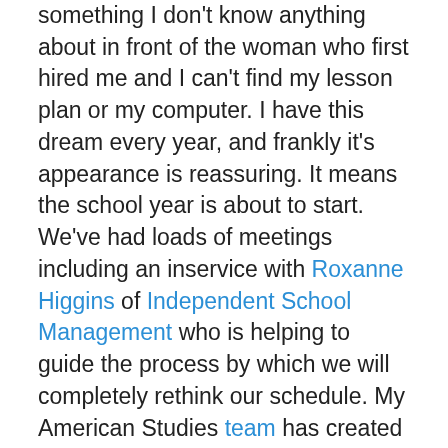something I don't know anything about in front of the woman who first hired me and I can't find my lesson plan or my computer. I have this dream every year, and frankly it's appearance is reassuring. It means the school year is about to start. We've had loads of meetings including an inservice with Roxanne Higgins of Independent School Management who is helping to guide the process by which we will completely rethink our schedule. My American Studies team has created our American Studies syllabus, planned our first few lessons, and I've finished rewriting the ESL History class I am going to teach this year. The blogs are made; the room is ready, and now all we need is for the kids to arrive.
I love this time of year. It is full of expectations, hopes and dreams. Before the first grades, or missed assignments, or over scheduled teachers and students, we have this one